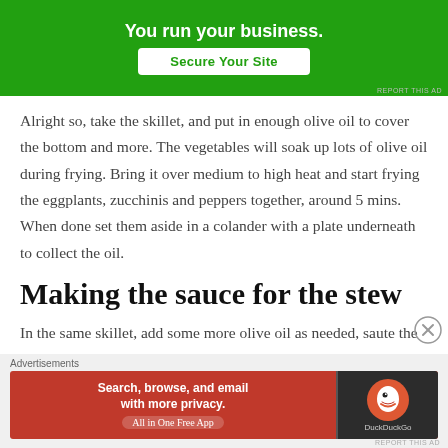[Figure (other): Green advertisement banner with 'Secure Your Site' button]
Alright so, take the skillet, and put in enough olive oil to cover the bottom and more. The vegetables will soak up lots of olive oil during frying. Bring it over medium to high heat and start frying the eggplants, zucchinis and peppers together, around 5 mins. When done set them aside in a colander with a plate underneath to collect the oil.
Making the sauce for the stew
In the same skillet, add some more olive oil as needed, saute the
[Figure (other): DuckDuckGo advertisement banner - Search, browse, and email with more privacy. All in One Free App]